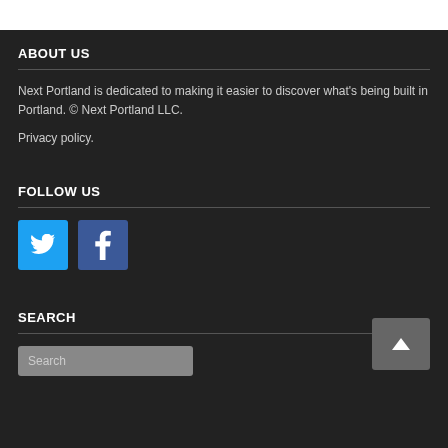ABOUT US
Next Portland is dedicated to making it easier to discover what's being built in Portland. © Next Portland LLC.
Privacy policy.
FOLLOW US
[Figure (illustration): Twitter bird icon blue square button and Facebook 'f' icon blue square button]
SEARCH
[Figure (screenshot): Search input field with placeholder text 'Search' and a back-to-top arrow button]